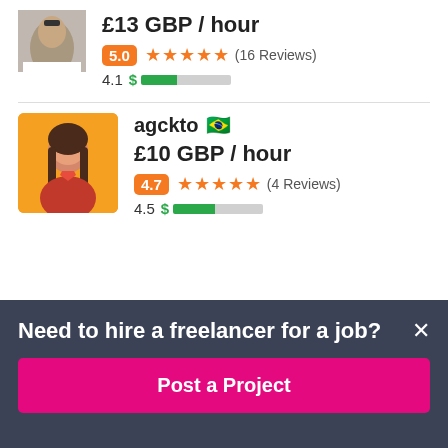[Figure (photo): Partial avatar photo of a person, partially cropped at top]
£13 GBP / hour
5.0 ★★★★★ (16 Reviews)
4.1 $ ████░░░░░░
[Figure (photo): Profile photo of agckto on orange background]
agckto 🇧🇷
£10 GBP / hour
4.7 ★★★★★ (4 Reviews)
4.5 $ ████▌░░░░░
Need to hire a freelancer for a job?
Post a Project